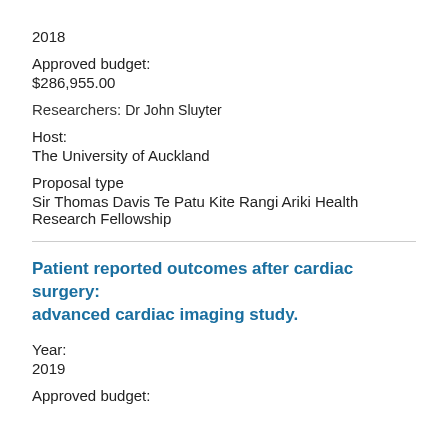2018
Approved budget:
$286,955.00
Researchers: Dr John Sluyter
Host:
The University of Auckland
Proposal type
Sir Thomas Davis Te Patu Kite Rangi Ariki Health Research Fellowship
Patient reported outcomes after cardiac surgery: advanced cardiac imaging study.
Year:
2019
Approved budget: